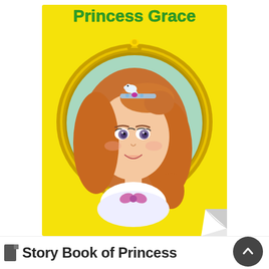[Figure (illustration): Book cover of 'Princess Grace' on a yellow background. Features a cartoon princess girl with auburn/brown hair, wearing a small jeweled tiara with a white bird, and a white dress with a purple bow. The portrait is framed in a circular gold mirror-style frame on a mint-green background. The title 'Princess Grace' appears at the top in green letters. A corner page-curl appears at the bottom right.]
Princess Grace
Story Book of Princess